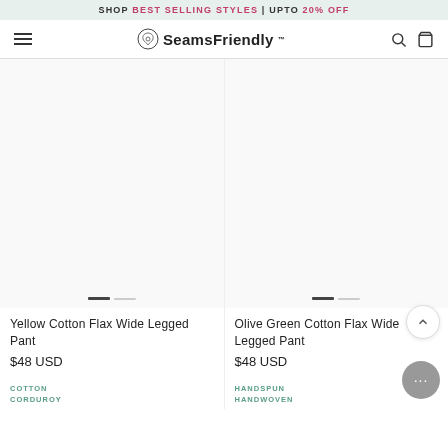SHOP BEST SELLING STYLES | UPTO 20% OFF
[Figure (logo): SeamsFriendly logo with navigation bar including hamburger menu, search icon, and cart icon]
[Figure (photo): Yellow Cotton Flax Wide Legged Pant product image area with slider indicators]
Yellow Cotton Flax Wide Legged Pant
$48 USD
COTTON CORDUROY
[Figure (photo): Olive Green Cotton Flax Wide Legged Pant product image area with slider indicators]
Olive Green Cotton Flax Wide Legged Pant
$48 USD
HANDSPUN HANDWOVEN